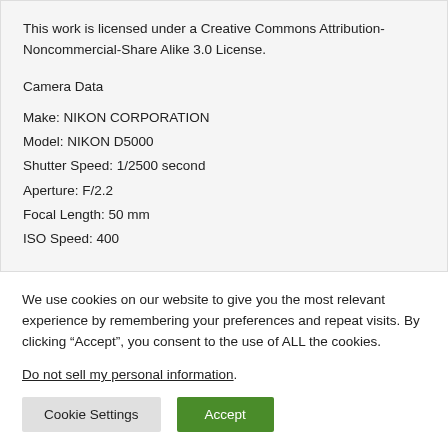This work is licensed under a Creative Commons Attribution-Noncommercial-Share Alike 3.0 License.
Camera Data
Make: NIKON CORPORATION
Model: NIKON D5000
Shutter Speed: 1/2500 second
Aperture: F/2.2
Focal Length: 50 mm
ISO Speed: 400
We use cookies on our website to give you the most relevant experience by remembering your preferences and repeat visits. By clicking “Accept”, you consent to the use of ALL the cookies.
Do not sell my personal information.
Cookie Settings
Accept